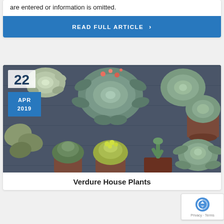are entered or information is omitted.
READ FULL ARTICLE ›
22
APR
2019
[Figure (photo): Overhead view of various succulent and house plants in pots arranged on a dark blue/grey wooden surface]
Verdure House Plants